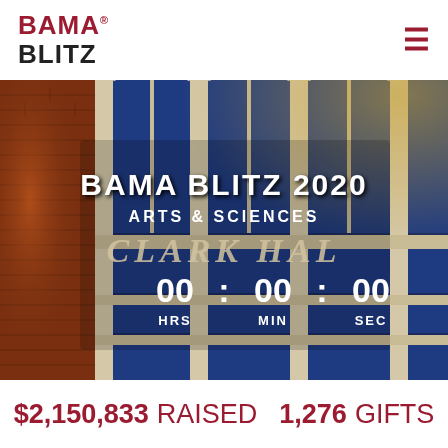[Figure (logo): Bama Blitz logo with trademark symbol — BAMA in dark red bold, BLITZ in black bold]
[Figure (photo): Exterior photo of Clark Hall, University of Alabama — brick facade with large arched white-framed windows with blue glass panes and warm golden light. Overlaid text reads BAMA BLITZ 2020, ARTS & SCIENCES, CLARK HALL, and a countdown timer showing 00:00:00 HRS MIN SEC]
$2,150,833 RAISED   1,276 GIFTS